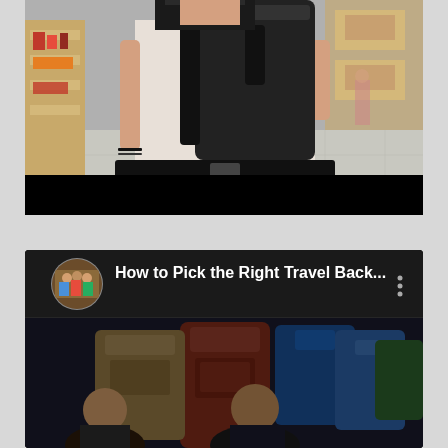[Figure (photo): A woman wearing a white t-shirt and carrying a large black backpack with a hip belt, standing in what appears to be a retail store with wooden display shelves in the background. The lower portion of the image is blacked out.]
[Figure (screenshot): A YouTube video thumbnail/preview card showing a video titled 'How to Pick the Right Travel Back...' with a circular channel avatar showing people, a three-dot menu icon, and a dark thumbnail image showing multiple backpacks displayed on a wall with people in front of them.]